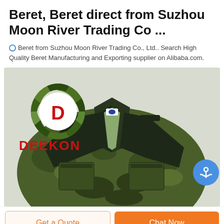Beret, Beret direct from Suzhou Moon River Trading Co ...
Beret from Suzhou Moon River Trading Co., Ltd.. Search High Quality Beret Manufacturing and Exporting supplier on Alibaba.com.
[Figure (photo): Product photo showing a camouflage military jacket/BDU with dark collar and chest pockets, displayed against a light background. A DEEKON brand logo (circular camouflage pattern with red D in center and red DEEKON text below) is overlaid in the upper left of the image.]
Get a Quote
Chat Now